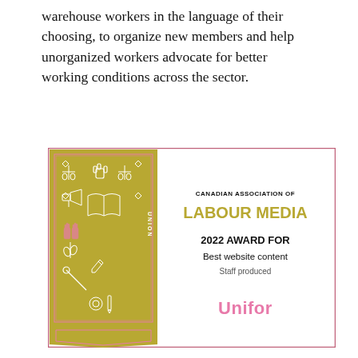warehouse workers in the language of their choosing, to organize new members and help unorganized workers advocate for better working conditions across the sector.
[Figure (illustration): Canadian Association of Labour Media 2022 Award for Best website content, Staff produced, awarded to Unifor. Left side shows a gold badge/banner with labour-themed illustrations (raised fist, scales of justice, tools, book, plants, wrench). Right side shows award text on white background with pink border.]